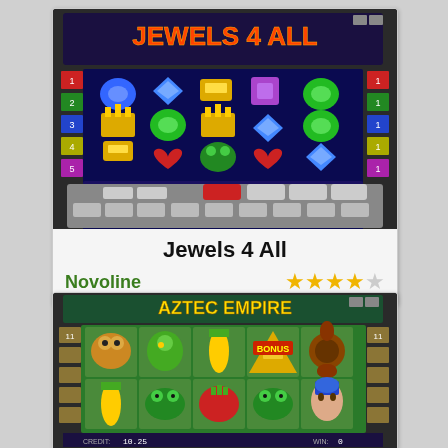[Figure (screenshot): Screenshot of Jewels 4 All slot machine game showing 5 reels with gem symbols (diamonds, crowns, gold bars, hearts, emeralds), game controls at bottom, CREDIT 1000, BET 9, BETLINE display]
Jewels 4 All
Novoline
[Figure (screenshot): Screenshot of Aztec Empire slot machine game showing 5 reels with animal and Aztec symbols (leopard, parrot, corn, pyramid, flower, frog, tomato, rabbit, Aztec queen), CREDIT and WIN display at bottom]